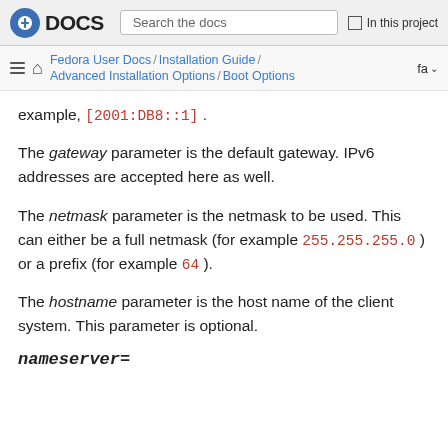Fedora DOCS — Search the docs | In this project
Fedora User Docs / Installation Guide / Advanced Installation Options / Boot Options — fa
example, [2001:DB8::1] .
The gateway parameter is the default gateway. IPv6 addresses are accepted here as well.
The netmask parameter is the netmask to be used. This can either be a full netmask (for example 255.255.255.0 ) or a prefix (for example 64 ).
The hostname parameter is the host name of the client system. This parameter is optional.
nameserver=